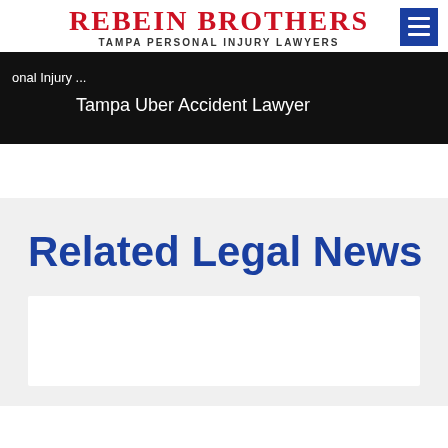Rebein Brothers — Tampa Personal Injury Lawyers
[Figure (screenshot): Black banner with page breadcrumb text at top and 'Tampa Uber Accident Lawyer' heading below]
Related Legal News
[Figure (other): White news card placeholder]